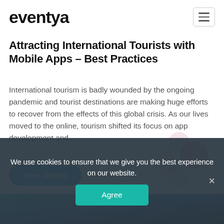eventya
Attracting International Tourists with Mobile Apps – Best Practices
International tourism is badly wounded by the ongoing pandemic and tourist destinations are making huge efforts to recover from the effects of this global crisis. As our lives moved to the online, tourism shifted its focus on app development and...
[Figure (illustration): Decorative overlapping pastel circles (pink and light pink)]
More Details
[Figure (photo): Background photo of people using mobile phones, teal/dark teal toned]
We use cookies to ensure that we give you the best experience on our website.
Agree